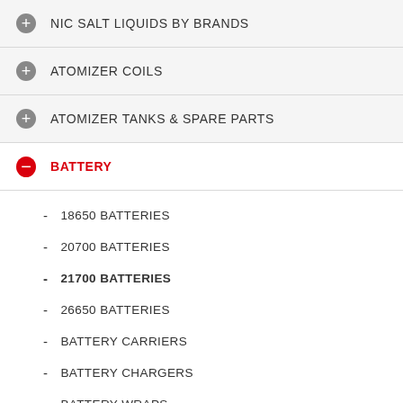NIC SALT LIQUIDS BY BRANDS
ATOMIZER COILS
ATOMIZER TANKS & SPARE PARTS
BATTERY
18650 BATTERIES
20700 BATTERIES
21700 BATTERIES
26650 BATTERIES
BATTERY CARRIERS
BATTERY CHARGERS
BATTERY WRAPS
CARRYING BAGS